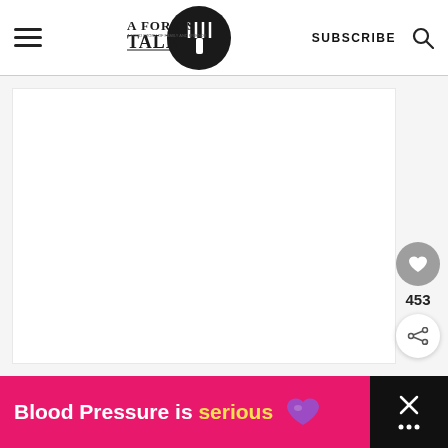[Figure (logo): A Fork's Tale logo with fork and circle design, header navigation with hamburger menu, SUBSCRIBE text, and search icon]
[Figure (screenshot): White content area with heart/like button showing 453 count and share button on the right side]
[Figure (infographic): Ad banner: Blood Pressure is serious with purple heart icon on pink background, close button on dark background]